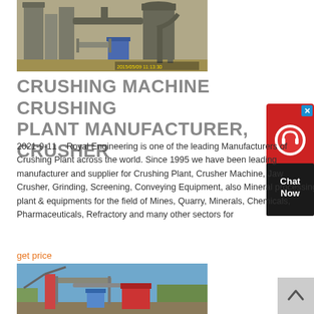[Figure (photo): Industrial crushing plant facility with silos, pipes, and machinery in a factory setting. Timestamp visible: 2015/05/09 11:13:30]
CRUSHING MACHINE CRUSHING PLANT MANUFACTURER, CRUSHER
2021-9-11   Royal Engineering is one of the leading Manufacturers of Crushing Plant across the world. Since 1995 we have been leading manufacturer and supplier for Crushing Plant, Crusher Machine, Jaw Crusher, Grinding, Screening, Conveying Equipment, also Mineral processing plant & equipments for the field of Mines, Quarry, Minerals, Chemicals, Pharmaceuticals, Refractory and many other sectors for
get price
[Figure (photo): Outdoor crushing plant installation with cranes, conveyors, and industrial equipment against a blue sky with trees in background]